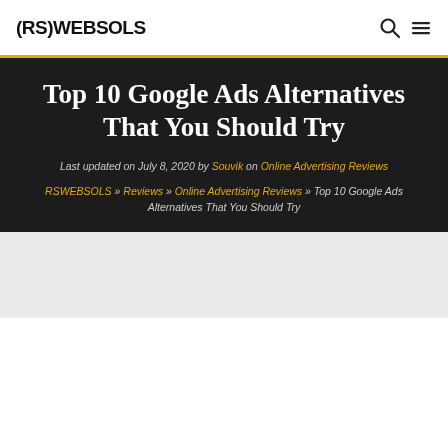(RS)WEBSOLS
Top 10 Google Ads Alternatives That You Should Try
Last updated on July 8, 2020 by Souvik on Online Advertising Reviews
RSWEBSOLS » Reviews » Online Advertising Reviews » Top 10 Google Ads Alternatives That You Should Try